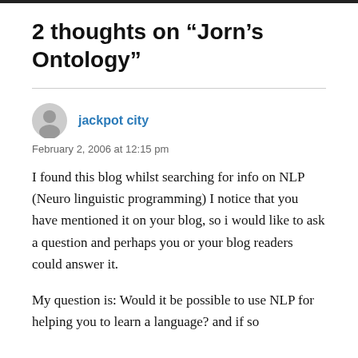2 thoughts on “Jorn’s Ontology”
jackpot city
February 2, 2006 at 12:15 pm
I found this blog whilst searching for info on NLP (Neuro linguistic programming) I notice that you have mentioned it on your blog, so i would like to ask a question and perhaps you or your blog readers could answer it.
My question is: Would it be possible to use NLP for helping you to learn a language? and if so